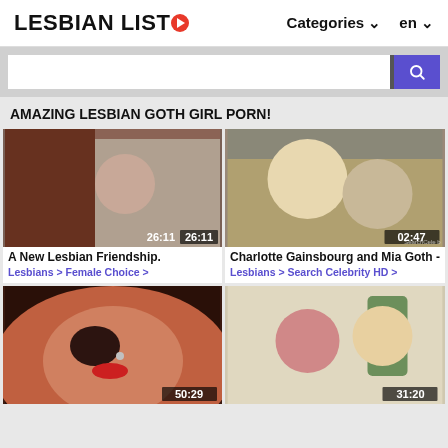LESBIAN LISTO   Categories   en
Search bar
AMAZING LESBIAN GOTH GIRL PORN!
[Figure (photo): Video thumbnail showing two women, one with shaved head and tattoos, one in white top. Duration: 26:11]
A New Lesbian Friendship.
Lesbians > Female Choice >
[Figure (photo): Video thumbnail showing close-up of two women. Duration: 02:47. Watermark: SearchCele b]
Charlotte Gainsbourg and Mia Goth -
Lesbians > Search Celebrity HD >
[Figure (photo): Video thumbnail showing extreme close-up of woman's face with red lips and nose ring. Duration: 50:29]
[Figure (photo): Video thumbnail showing two women on a couch, one with purple/red hair one blonde. Duration: 31:20]